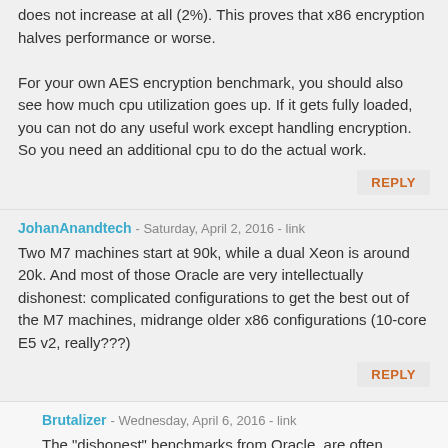does not increase at all (2%). This proves that x86 encryption halves performance or worse.

For your own AES encryption benchmark, you should also see how much cpu utilization goes up. If it gets fully loaded, you can not do any useful work except handling encryption. So you need an additional cpu to do the actual work.
REPLY
JohanAnandtech - Saturday, April 2, 2016 - link
Two M7 machines start at 90k, while a dual Xeon is around 20k. And most of those Oracle are very intellectually dishonest: complicated configurations to get the best out of the M7 machines, midrange older x86 configurations (10-core E5 v2, really???)
REPLY
Brutalizer - Wednesday, April 6, 2016 - link
The "dishonest" benchmarks from Oracle, are often (always?) using what is published. If for instance, IBM only has one published benchmark, then Oracle has no other choice than use it, right? Of course when there are faster IBM benchmarks out there, Oracle use that. Same with x86, all the x86 benchmarks, are those that...